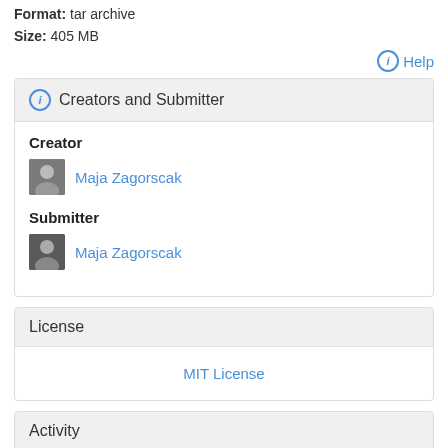Format: tar archive
Size: 405 MB
Help
Creators and Submitter
Creator
Maja Zagorscak
Submitter
Maja Zagorscak
License
MIT License
Activity